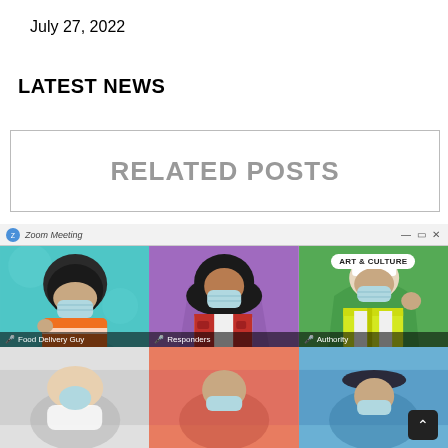July 27, 2022
LATEST NEWS
RELATED POSTS
[Figure (screenshot): Screenshot of a Zoom Meeting window showing a grid of illustrated avatars of masked workers including Food Delivery Guy, Responders, Authority, and others. Top row has three cells with cartoon illustrations, bottom row partially visible. An ART & CULTURE badge appears in the top-right cell. A back-to-top button is visible at the bottom right.]